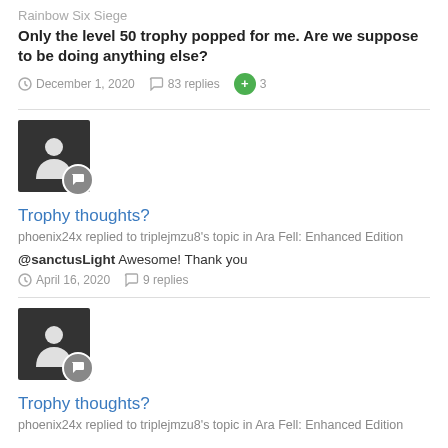Rainbow Six Siege
Only the level 50 trophy popped for me. Are we suppose to be doing anything else?
December 1, 2020   83 replies   +3
[Figure (illustration): User avatar with chat badge icon]
Trophy thoughts?
phoenix24x replied to triplejmzu8's topic in Ara Fell: Enhanced Edition
@sanctusLight Awesome! Thank you
April 16, 2020   9 replies
[Figure (illustration): User avatar with chat badge icon]
Trophy thoughts?
phoenix24x replied to triplejmzu8's topic in Ara Fell: Enhanced Edition